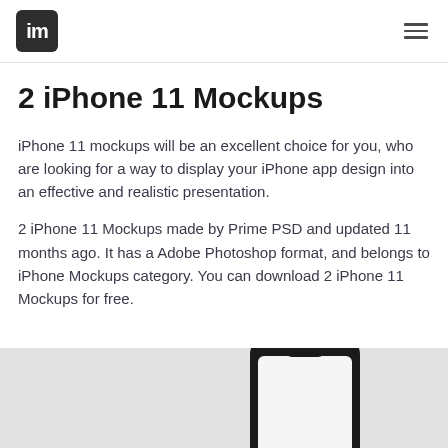im [logo] / [menu]
2 iPhone 11 Mockups
iPhone 11 mockups will be an excellent choice for you, who are looking for a way to display your iPhone app design into an effective and realistic presentation.
2 iPhone 11 Mockups made by Prime PSD and updated 11 months ago. It has a Adobe Photoshop format, and belongs to iPhone Mockups category. You can download 2 iPhone 11 Mockups for free.
[Figure (photo): iPhone 11 mockup photo showing a phone on a light gray background, partially visible at the bottom of the page.]